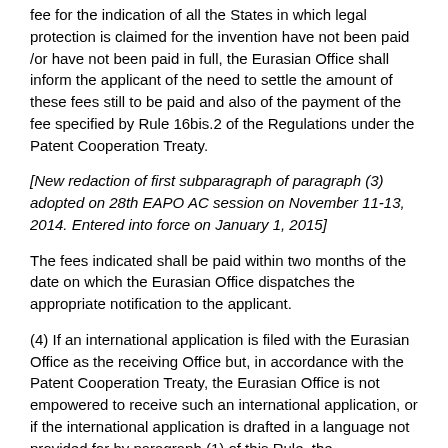fee for the indication of all the States in which legal protection is claimed for the invention have not been paid /or have not been paid in full, the Eurasian Office shall inform the applicant of the need to settle the amount of these fees still to be paid and also of the payment of the fee specified by Rule 16bis.2 of the Regulations under the Patent Cooperation Treaty.
[New redaction of first subparagraph of paragraph (3) adopted on 28th EAPO AC session on November 11-13, 2014. Entered into force on January 1, 2015]
The fees indicated shall be paid within two months of the date on which the Eurasian Office dispatches the appropriate notification to the applicant.
(4) If an international application is filed with the Eurasian Office as the receiving Office but, in accordance with the Patent Cooperation Treaty, the Eurasian Office is not empowered to receive such an international application, or if the international application is drafted in a language not provided for by paragraph (1) of this Rule, the international